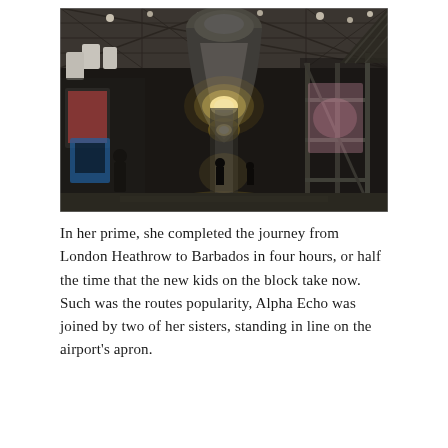[Figure (photo): Interior view of an aircraft hangar showing the underside of a large jet aircraft (likely Concorde) from the front, with bright lights illuminating the fuselage nose. The hangar has a latticed roof with spotlights, and visitors and exhibits are visible on the hangar floor beneath and around the aircraft. Scaffolding and support structures are visible on the right side.]
In her prime, she completed the journey from London Heathrow to Barbados in four hours, or half the time that the new kids on the block take now. Such was the routes popularity, Alpha Echo was joined by two of her sisters, standing in line on the airport's apron.